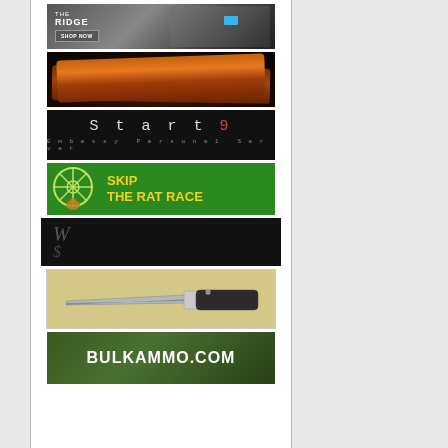[Figure (illustration): The Ridge wallet advertisement — dark carbon fiber background with metal wallets and blue accent, 'THE RIDGE' logo, 'SHOP NOW' button]
[Figure (photo): Bacon sizzling in a dark pan — close up food photo showing crispy brown bacon strips]
[Figure (illustration): Start9 Embassy Personal Server advertisement — black background with stylized monospace text 'Start9' (9 in red) and subtitle 'Embassy Personal Server']
[Figure (illustration): Skip the Rat Race advertisement — green background with hamster wheel graphic on left and bold yellow text 'SKIP THE RAT RACE']
[Figure (illustration): W$ logo advertisement — black background with large italic W and dollar sign in dark gray]
[Figure (photo): Folding pocket knife advertisement — tan/khaki background with a gray folding knife with carbon fiber handle]
[Figure (illustration): BULKAMMO.COM advertisement — green camouflage/nature background with large white bold text 'BULKAMMO.COM']